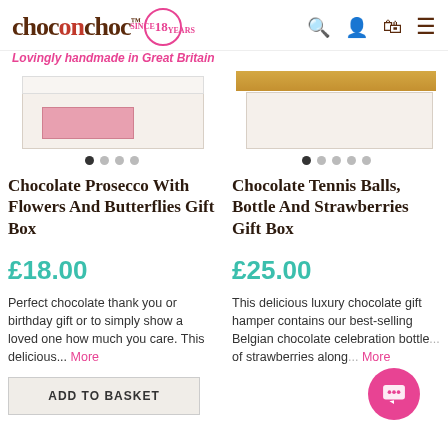choconchoc™ — Lovingly handmade in Great Britain
[Figure (photo): Product image of Chocolate Prosecco With Flowers And Butterflies Gift Box — white gift box with pink chocolates visible inside, shown partially open]
[Figure (photo): Product image of Chocolate Tennis Balls, Bottle And Strawberries Gift Box — white gift box with gold lid detail, shown partially open]
Chocolate Prosecco With Flowers And Butterflies Gift Box
Chocolate Tennis Balls, Bottle And Strawberries Gift Box
£18.00
£25.00
Perfect chocolate thank you or birthday gift or to simply show a loved one how much you care. This delicious... More
This delicious luxury chocolate gift hamper contains our best-selling Belgian chocolate celebration bottle... of strawberries along... More
ADD TO BASKET